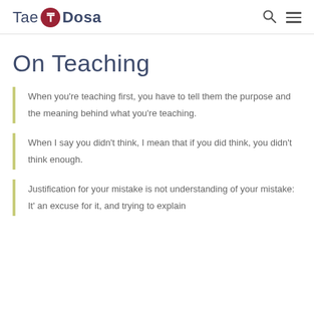Tae Dosa
On Teaching
When you're teaching first, you have to tell them the purpose and the meaning behind what you're teaching.
When I say you didn't think, I mean that if you did think, you didn't think enough.
Justification for your mistake is not understanding of your mistake: It' an excuse for it, and trying to explain